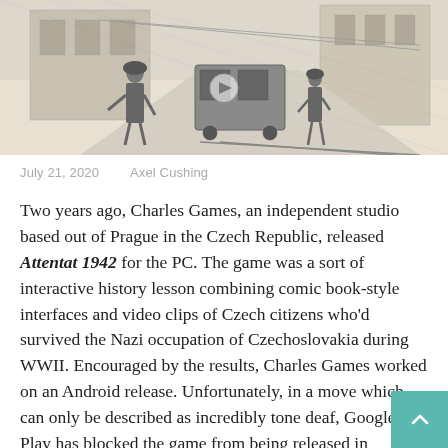[Figure (illustration): Pencil sketch illustration of a wartime street scene with soldiers and a tram in Prague, in grayscale sketch style]
July 21, 2020    Axel Cushing
Two years ago, Charles Games, an independent studio based out of Prague in the Czech Republic, released Attentat 1942 for the PC. The game was a sort of interactive history lesson combining comic book-style interfaces and video clips of Czech citizens who'd survived the Nazi occupation of Czechoslovakia during WWII. Encouraged by the results, Charles Games worked on an Android release. Unfortunately, in a move which can only be described as incredibly tone deaf, Google Play has blocked the game from being released in Germany, Austria, France, and Russia for referencing Nazis.